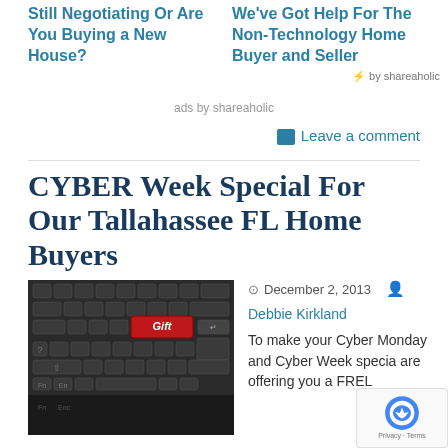Still Negotiating Or Are You Buying a New House?
We've Got Help For The Non-Technology Home Buyer and Seller
by shareaholic
ads by shareaholic
Leave a comment
CYBER Week Special For Our Tallahassee FL Home Buyers
December 2, 2013
Debbie Kirkland
To make your Cyber Monday and Cyber Week specia are offering you a FREL
[Figure (photo): Keyboard with a red 'Gift' key highlighted]